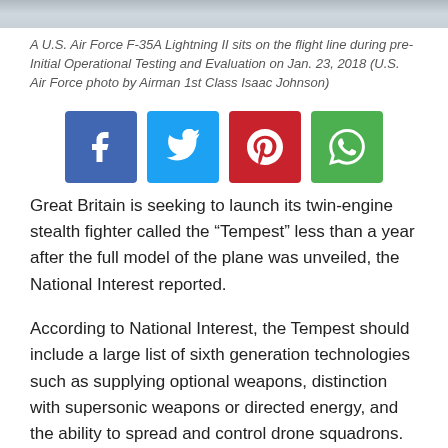[Figure (photo): Gray photo bar representing aircraft image at top of page]
A U.S. Air Force F-35A Lightning II sits on the flight line during pre-Initial Operational Testing and Evaluation on Jan. 23, 2018 (U.S. Air Force photo by Airman 1st Class Isaac Johnson)
[Figure (other): Social media share buttons: Facebook, Twitter, Pinterest, WhatsApp]
Great Britain is seeking to launch its twin-engine stealth fighter called the “Tempest” less than a year after the full model of the plane was unveiled, the National Interest reported.
According to National Interest, the Tempest should include a large list of sixth generation technologies such as supplying optional weapons, distinction with supersonic weapons or directed energy, and the ability to spread and control drone squadrons.
Last July 16, at the Farnborough Airshow, British Defense